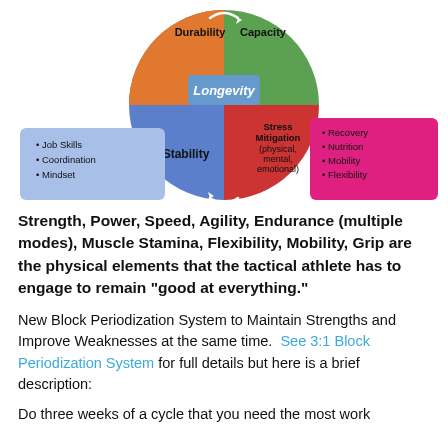[Figure (infographic): A circular diagram showing Longevity at the center, with four quadrants: Durability (orange, top-left), Capacity (green, top-right), Stability (blue, bottom-left), Stress Mitigation physical/mental/emotional (red, bottom-right). A magenta/pink box on the right lists Recovery, Nutrition, Mobility, Flexibility. A light blue box on the left lists Job Skills, Coordination, Mindset.]
Strength, Power, Speed, Agility, Endurance (multiple modes), Muscle Stamina, Flexibility, Mobility, Grip are the physical elements that the tactical athlete has to engage to remain "good at everything."
New Block Periodization System to Maintain Strengths and Improve Weaknesses at the same time. See 3:1 Block Periodization System for full details but here is a brief description:
Do three weeks of a cycle that you need the most work...